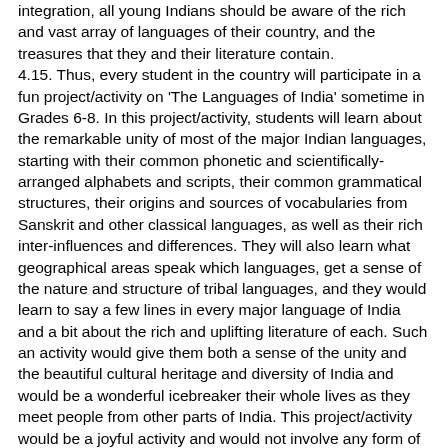integration, all young Indians should be aware of the rich and vast array of languages of their country, and the treasures that they and their literature contain. 4.15. Thus, every student in the country will participate in a fun project/activity on 'The Languages of India' sometime in Grades 6-8. In this project/activity, students will learn about the remarkable unity of most of the major Indian languages, starting with their common phonetic and scientifically-arranged alphabets and scripts, their common grammatical structures, their origins and sources of vocabularies from Sanskrit and other classical languages, as well as their rich inter-influences and differences. They will also learn what geographical areas speak which languages, get a sense of the nature and structure of tribal languages, and they would learn to say a few lines in every major language of India and a bit about the rich and uplifting literature of each. Such an activity would give them both a sense of the unity and the beautiful cultural heritage and diversity of India and would be a wonderful icebreaker their whole lives as they meet people from other parts of India. This project/activity would be a joyful activity and would not involve any form of assessment. 4.16. The importance, relevance, and beauty of the classical